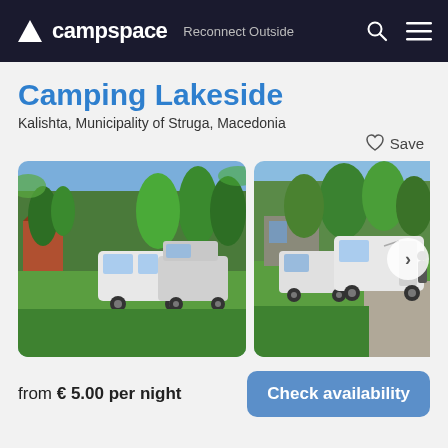campspace  Reconnect Outside
Camping Lakeside
Kalishta, Municipality of Struga, Macedonia
Save
[Figure (photo): Campsite with two white campervans parked on green grass surrounded by trees]
[Figure (photo): Campsite with two white vans parked on gravel/grass area with trees and a building in the background]
[Figure (photo): Partial third campsite photo, cropped]
from € 5.00 per night
Check availability